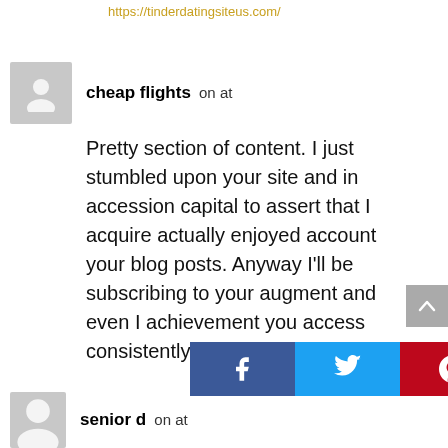https://tinderdatingsiteus.com/
cheap flights on at
Pretty section of content. I just stumbled upon your site and in accession capital to assert that I acquire actually enjoyed account your blog posts. Anyway I'll be subscribing to your augment and even I achievement you access consistently rapidly.
senior d on at